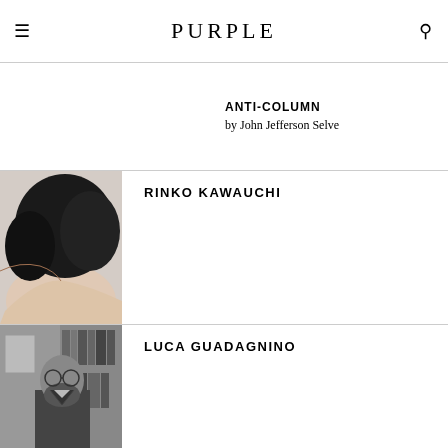PURPLE
ANTI-COLUMN
by John Jefferson Selve
[Figure (photo): Close-up photo of a person's back of neck and head with short black hair, bare shoulder visible, soft light background]
RINKO KAWAUCHI
[Figure (photo): Black and white photo of a man with beard and glasses standing in front of bookshelves]
LUCA GUADAGNINO